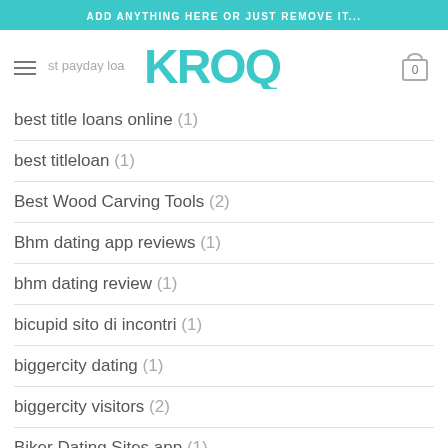ADD ANYTHING HERE OR JUST REMOVE IT...
[Figure (logo): KROQ logo in teal/turquoise color with hamburger menu icon on left and shopping cart with 0 on right]
best title loans online (1)
best titleloan (1)
Best Wood Carving Tools (2)
Bhm dating app reviews (1)
bhm dating review (1)
bicupid sito di incontri (1)
biggercity dating (1)
biggercity visitors (2)
Biker Dating Sites app (1)
Biker Dating Sites site (1)